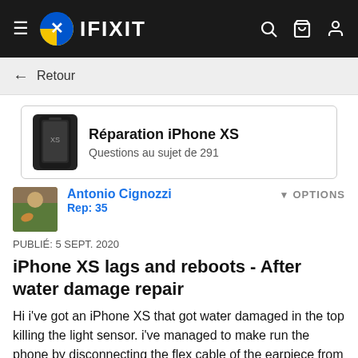[Figure (screenshot): iFixit website navigation bar with hamburger menu, iFixit logo, and icons for search, cart, and user account]
← Retour
[Figure (screenshot): Device card showing iPhone XS repair category with iPhone XS image thumbnail]
Réparation iPhone XS
Questions au sujet de 291
Antonio Cignozzi
Rep: 35
OPTIONS
PUBLIÉ: 5 SEPT. 2020
iPhone XS lags and reboots - After water damage repair
Hi i've got an iPhone XS that got water damaged in the top killing the light sensor. i've managed to make run the phone by disconnecting the flex cable of the earpiece from